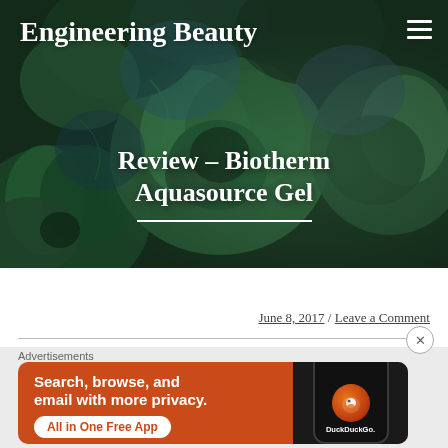[Figure (photo): Hero image with dark green succulent plants as background, filling the top portion of the page]
Engineering Beauty
Review – Biotherm Aquasource Gel
June 8, 2017 / Leave a Comment
[Figure (screenshot): DuckDuckGo advertisement banner with orange background: 'Search, browse, and email with more privacy. All in One Free App' with phone image showing DuckDuckGo logo]